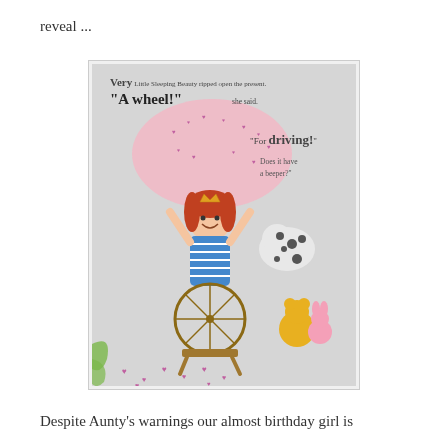reveal ...
[Figure (illustration): A children's book illustration showing a little girl with red hair holding a spinning wheel above her head, wearing a blue striped outfit. There is a pink polka-dot elephant in the background, a dalmatian-spotted dog, a yellow bear and pink rabbit. Hearts decorate the floor. Text on the image reads: 'Very Little Sleeping Beauty ripped open the present. "A wheel!" she said. "For driving! Does it have a beeper?"']
Despite Aunty's warnings our almost birthday girl is